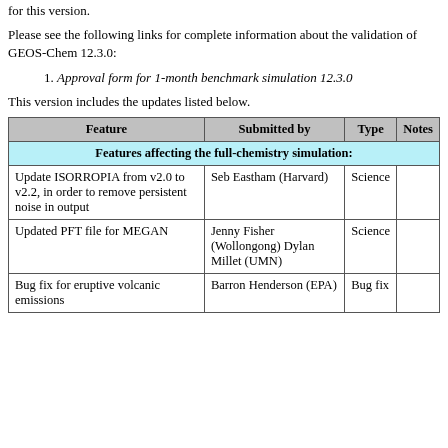for this version.
Please see the following links for complete information about the validation of GEOS-Chem 12.3.0:
1. Approval form for 1-month benchmark simulation 12.3.0
This version includes the updates listed below.
| Feature | Submitted by | Type | Notes |
| --- | --- | --- | --- |
| Features affecting the full-chemistry simulation: |  |  |  |
| Update ISORROPIA from v2.0 to v2.2, in order to remove persistent noise in output | Seb Eastham (Harvard) | Science |  |
| Updated PFT file for MEGAN | Jenny Fisher (Wollongong) Dylan Millet (UMN) | Science |  |
| Bug fix for eruptive volcanic emissions | Barron Henderson (EPA) | Bug fix |  |